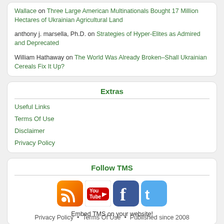Wallace on Three Large American Multinationals Bought 17 Million Hectares of Ukrainian Agricultural Land
anthony j. marsella, Ph.D. on Strategies of Hyper-Elites as Admired and Deprecated
William Hathaway on The World Was Already Broken–Shall Ukrainian Cereals Fix It Up?
Extras
Useful Links
Terms Of Use
Disclaimer
Privacy Policy
Follow TMS
[Figure (infographic): Social media icons: RSS feed (orange), YouTube (red/white), Facebook (blue), Twitter (light blue)]
Embed TMS on your website!
Privacy Policy • Terms Of Use • Published since 2008